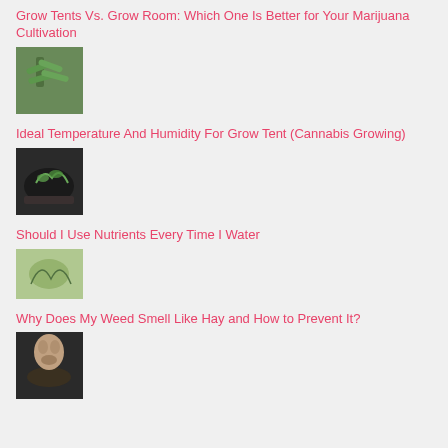Grow Tents Vs. Grow Room: Which One Is Better for Your Marijuana Cultivation
[Figure (photo): Cannabis plant with green leaves close-up]
Ideal Temperature And Humidity For Grow Tent (Cannabis Growing)
[Figure (photo): Hands pouring soil or planting seedlings]
Should I Use Nutrients Every Time I Water
[Figure (photo): Person smelling cannabis buds held in hands]
Why Does My Weed Smell Like Hay and How to Prevent It?